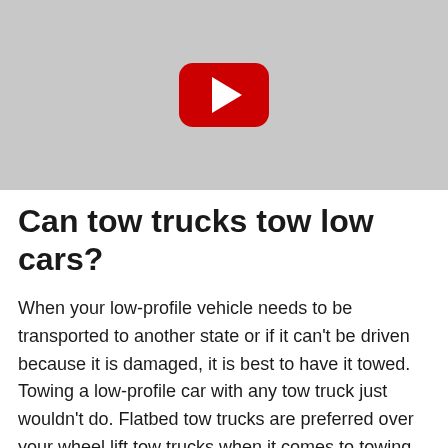[Figure (screenshot): YouTube video thumbnail placeholder showing a gray background with a red YouTube play button icon in the center]
Can tow trucks tow low cars?
When your low-profile vehicle needs to be transported to another state or if it can't be driven because it is damaged, it is best to have it towed. Towing a low-profile car with any tow truck just wouldn't do. Flatbed tow trucks are preferred over your wheel lift tow trucks when it comes to towing low-profile